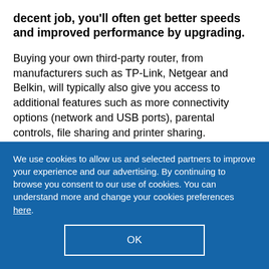decent job, you'll often get better speeds and improved performance by upgrading.
Buying your own third-party router, from manufacturers such as TP-Link, Netgear and Belkin, will typically also give you access to additional features such as more connectivity options (network and USB ports), parental controls, file sharing and printer sharing.
Head straight to our router and wi-fi extender
We use cookies to allow us and selected partners to improve your experience and our advertising. By continuing to browse you consent to our use of cookies. You can understand more and change your cookies preferences here.